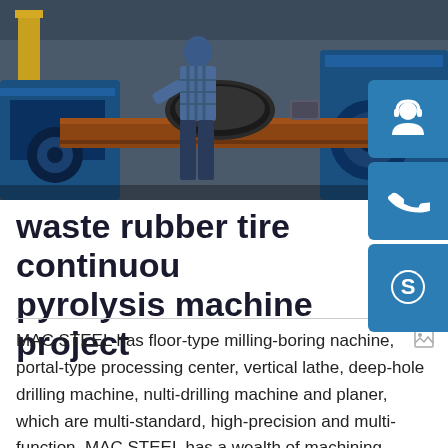[Figure (photo): Industrial factory scene showing a worker operating heavy machinery (appears to be a large blue metal rolling or boring machine) in a manufacturing facility]
waste rubber tire continuous pyrolysis machine project
MAC STEEL has floor-type milling-boring nachine, portal-type processing center, vertical lathe, deep-hole drilling machine, nulti-drilling machine and planer, which are multi-standard, high-precision and multi-function. MAC STEEL has a wealth of machining experience and cases, such as the processing of tube sheets, food